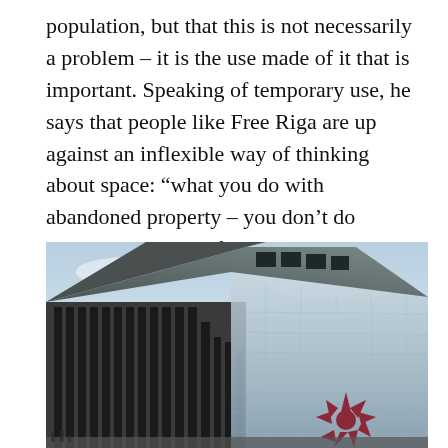population, but that this is not necessarily a problem – it is the use made of it that is important. Speaking of temporary use, he says that people like Free Riga are up against an inflexible way of thinking about space: “what you do with abandoned property – you don’t do anything, you wait for investment”.
[Figure (photo): Photograph of a modern angular glass and concrete building facade with vertical dark panels and large EU2015.LV branding logo on its lower right section, taken from a low angle against a pale blue sky.]